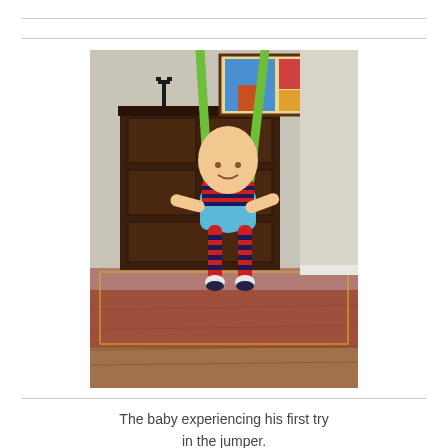[Figure (photo): A baby in a red and dark blue striped outfit suspended in a baby jumper with green straps, bouncing above a hardwood floor. In the background there is a dark wooden dresser, a colorful painting, and a patterned rug.]
The baby experiencing his first try in the jumper.